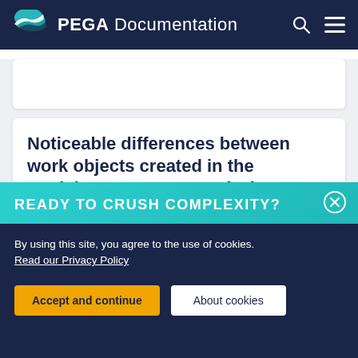PEGA Documentation
Noticeable differences between work objects created in the Decision Manager portal when compared to Designer Studio
READY TO CRUSH COMPLEXITY?
By using this site, you agree to the use of cookies.
Read our Privacy Policy
Accept and continue
About cookies